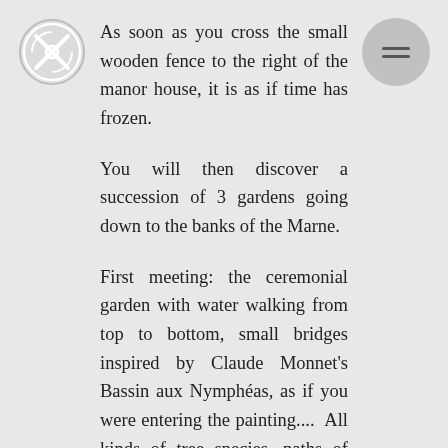[Figure (logo): Circular logo with an X-like design in white on a light grey circle background, top left corner]
[Figure (other): Grey circular menu button with three horizontal lines (hamburger icon) in the top right corner]
As soon as you cross the small wooden fence to the right of the manor house, it is as if time has frozen.
You will then discover a succession of 3 gardens going down to the banks of the Marne.
First meeting: the ceremonial garden with water walking from top to bottom, small bridges inspired by Claude Monnet's Bassin aux Nymphéas, as if you were entering the painting.... All kinds of tree species, paths of small stones to make the Little Thumb fade. In the bamboo grove, we are trying to see if a panda wouldn't hide there....